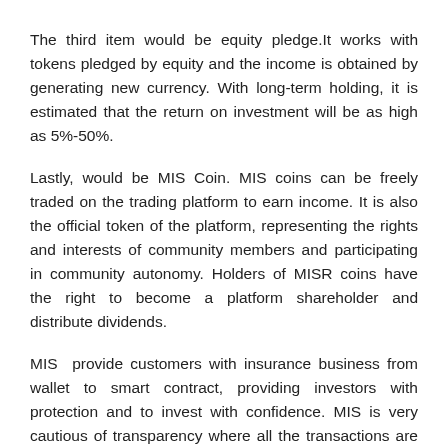The third item would be equity pledge.It works with tokens pledged by equity and the income is obtained by generating new currency. With long-term holding, it is estimated that the return on investment will be as high as 5%-50%.
Lastly, would be MIS Coin. MIS coins can be freely traded on the trading platform to earn income. It is also the official token of the platform, representing the rights and interests of community members and participating in community autonomy. Holders of MISR coins have the right to become a platform shareholder and distribute dividends.
MIS provide customers with insurance business from wallet to smart contract, providing investors with protection and to invest with confidence. MIS is very cautious of transparency where all the transactions are recorded on the blockchain's public ledger. These public